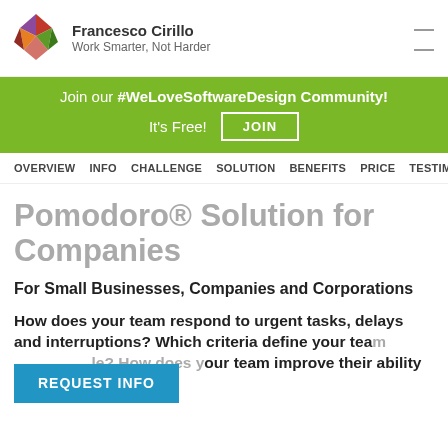Francesco Cirillo — Work Smarter, Not Harder
[Figure (logo): Francesco Cirillo logo: colorful geometric diamond shape with red, orange, purple, green facets]
Join our #WeLoveSoftwareDesign Community! It's Free! JOIN
OVERVIEW INFO CHALLENGE SOLUTION BENEFITS PRICE TESTIMO
Pomodoro® Solution for Companies
For Small Businesses, Companies and Corporations
How does your team respond to urgent tasks, delays and interruptions? Which criteria define your team le? How does your team improve their ability to estimate how
REQUEST INFO